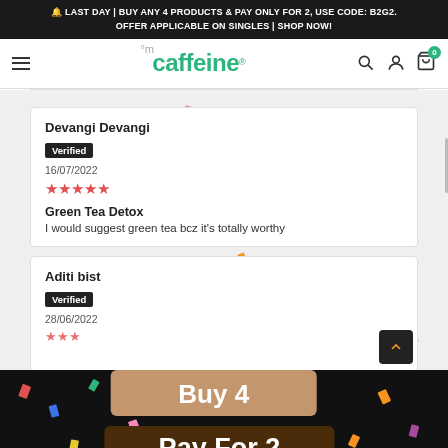LAST DAY | BUY ANY 4 PRODUCTS & PAY ONLY FOR 2, USE CODE: B2G2. OFFER APPLICABLE ON SINGLES | SHOP NOW!
[Figure (logo): mCaffeine brand logo in green text]
Devangi Devangi
Verified
16/07/2022
★★★★★
Green Tea Detox
I would suggest green tea bcz it's totally worthy
Aditi bist
Verified
28/06/2022
[Figure (infographic): Buy 4 Pay For 2 promotional overlay with confetti on dark background]